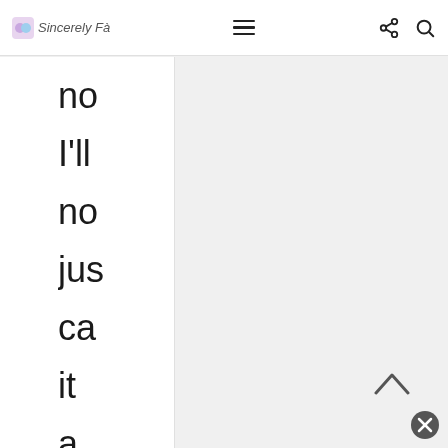Sincerely, [logo] | navigation bar with hamburger menu, share, and search icons
no
I'll
no
jus
ca
it
a
pa
be
tha
wh
far
bu
I
fin
it